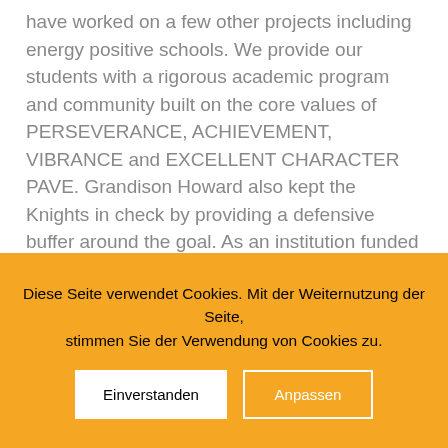have worked on a few other projects including energy positive schools. We provide our students with a rigorous academic program and community built on the core values of PERSEVERANCE, ACHIEVEMENT, VIBRANCE and EXCELLENT CHARACTER PAVE. Grandison Howard also kept the Knights in check by providing a defensive buffer around the goal. As an institution funded by the tax payer with clearly defined tasks both in Germany and abroad, we are aware that our work is expensive yet valuable. § 442 H New York Standard Operating Procedures§ New York Fair Housing NoticeTREC: Information about brokerage services, Consumer protection noticeCalifornia DRE
Diese Seite verwendet Cookies. Mit der Weiternutzung der Seite, stimmen Sie der Verwendung von Cookies zu.
Einverstanden
Anpassen